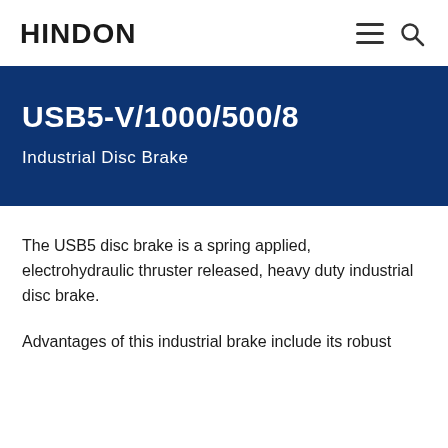HINDON
USB5-V/1000/500/8
Industrial Disc Brake
The USB5 disc brake is a spring applied, electrohydraulic thruster released, heavy duty industrial disc brake.
Advantages of this industrial brake include its robust